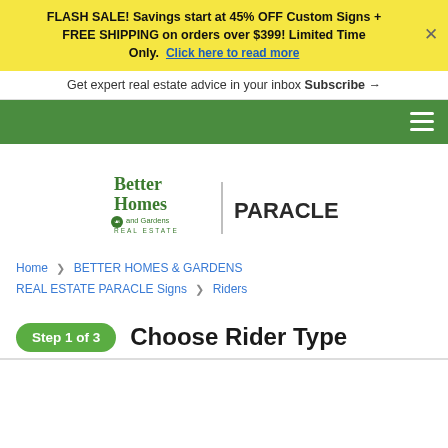FLASH SALE! Savings start at 45% OFF Custom Signs + FREE SHIPPING on orders over $399! Limited Time Only. Click here to read more
Get expert real estate advice in your inbox Subscribe →
[Figure (other): Green navigation bar with hamburger menu icon (three white horizontal lines) on the right]
[Figure (logo): Better Homes and Gardens Real Estate | PARACLE logo]
Home ❯ BETTER HOMES & GARDENS REAL ESTATE PARACLE Signs ❯ Riders
Step 1 of 3  Choose Rider Type